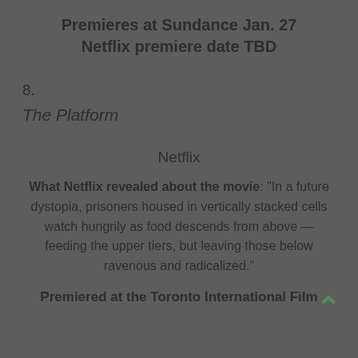Premieres at Sundance Jan. 27
Netflix premiere date TBD
8.
The Platform
Netflix
What Netflix revealed about the movie: "In a future dystopia, prisoners housed in vertically stacked cells watch hungrily as food descends from above — feeding the upper tiers, but leaving those below ravenous and radicalized."
Premiered at the Toronto International Film